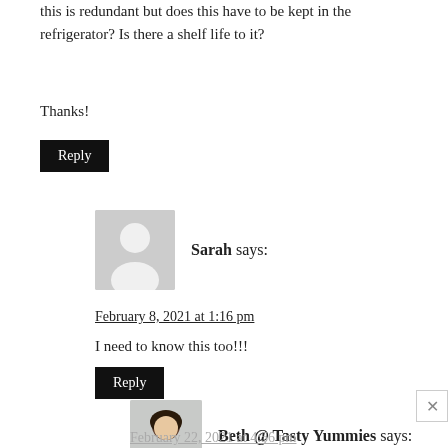this is redundant but does this have to be kept in the refrigerator? Is there a shelf life to it?
Thanks!
Reply
Sarah says:
February 8, 2021 at 1:16 pm
I need to know this too!!!
Reply
[Figure (photo): Profile photo of Beth @ Tasty Yummies, a woman with dark hair]
Beth @ Tasty Yummies says:
February 22, 2021 at 4:56 pm